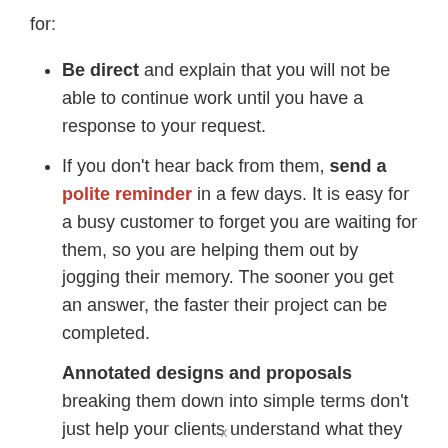for:
Be direct and explain that you will not be able to continue work until you have a response to your request.
If you don't hear back from them, send a polite reminder in a few days. It is easy for a busy customer to forget you are waiting for them, so you are helping them out by jogging their memory. The sooner you get an answer, the faster their project can be completed.
Annotated designs and proposals breaking them down into simple terms don't just help your clients understand what they are seeing, they...
x